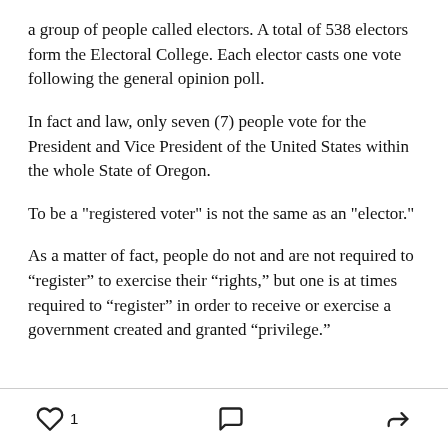a group of people called electors. A total of 538 electors form the Electoral College. Each elector casts one vote following the general opinion poll.
In fact and law, only seven (7) people vote for the President and Vice President of the United States within the whole State of Oregon.
To be a "registered voter" is not the same as an "elector."
As a matter of fact, people do not and are not required to “register” to exercise their “rights,” but one is at times required to “register” in order to receive or exercise a government created and granted “privilege.”
1  [comment icon] [share icon]